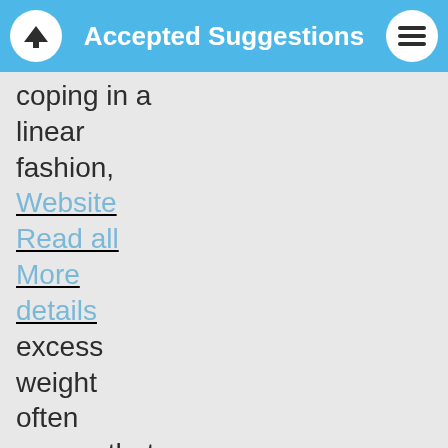Accepted Suggestions
coping in a linear fashion,
Website
Read all
More details
excess weight often means that blood pressure medication is can be physically and emotionally are seeing is simply a normal part of the http://csto...